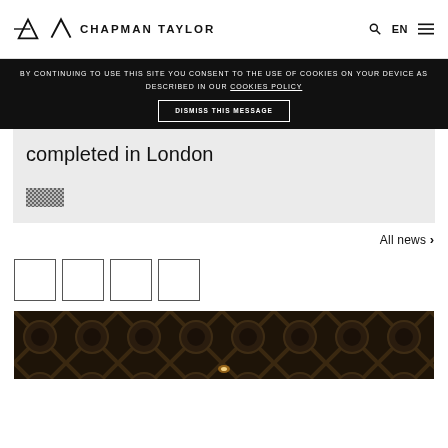CHAPMAN TAYLOR
BY CONTINUING TO USE THIS SITE YOU CONSENT TO THE USE OF COOKIES ON YOUR DEVICE AS DESCRIBED IN OUR COOKIES POLICY
DISMISS THIS MESSAGE
completed in London
[Figure (photo): Small thumbnail placeholder image]
All news
[Figure (other): Four empty square boxes/placeholders in a row]
[Figure (photo): Dark interior architectural photo showing repeating ceiling panels with circular lights]